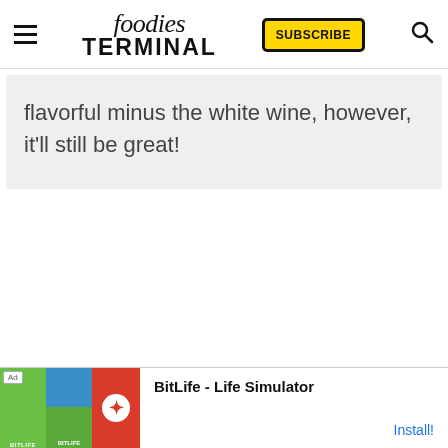foodies TERMINAL — SUBSCRIBE
flavorful minus the white wine, however, it'll still be great!
[Figure (screenshot): Ad banner for BitLife - Life Simulator with Install button]